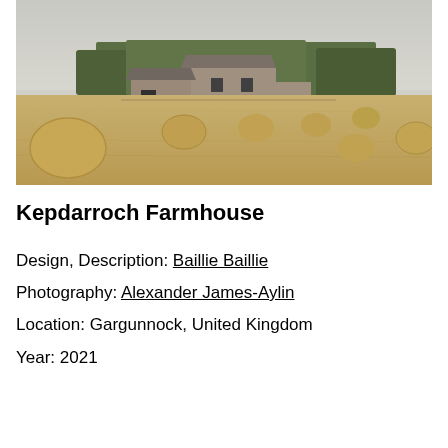[Figure (photo): Farmhouse building with stone walls and modern roof behind a wide harvested wheat field with multiple round hay bales scattered throughout. Trees visible in background under overcast sky.]
Kepdarroch Farmhouse
Design, Description: Baillie Baillie
Photography: Alexander James-Aylin
Location: Gargunnock, United Kingdom
Year: 2021